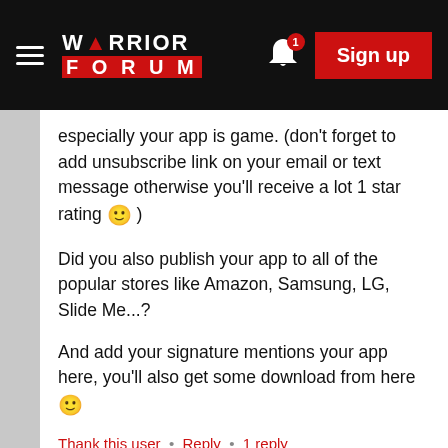Warrior Forum – Sign up
especially your app is game. (don't forget to add unsubscribe link on your email or text message otherwise you'll receive a lot 1 star rating 🙂 )
Did you also publish your app to all of the popular stores like Amazon, Samsung, LG, Slide Me...?
And add your signature mentions your app here, you'll also get some download from here 🙂
Thank this user  •  Reply  •  1 reply